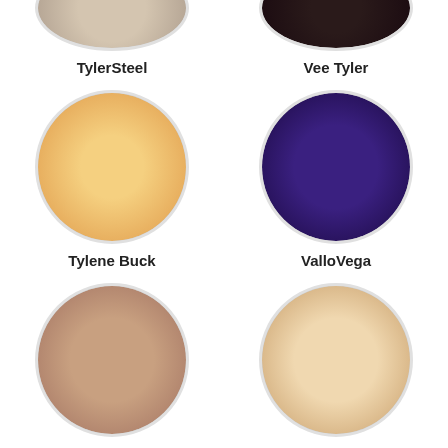[Figure (photo): Circular profile avatar for TylerSteel (partially cropped at top)]
TylerSteel
[Figure (photo): Circular profile avatar for Vee Tyler (partially cropped at top)]
Vee Tyler
[Figure (photo): Circular profile avatar for Tylene Buck]
Tylene Buck
[Figure (photo): Circular profile avatar for ValloVega]
ValloVega
[Figure (photo): Circular profile avatar for VelvetVeronica]
VelvetVeronica
[Figure (photo): Circular profile avatar for UkCuteGirl]
UkCuteGirl
[Figure (photo): Circular profile avatar (partially cropped at bottom, left column)]
[Figure (photo): Circular profile avatar (partially cropped at bottom, right column)]